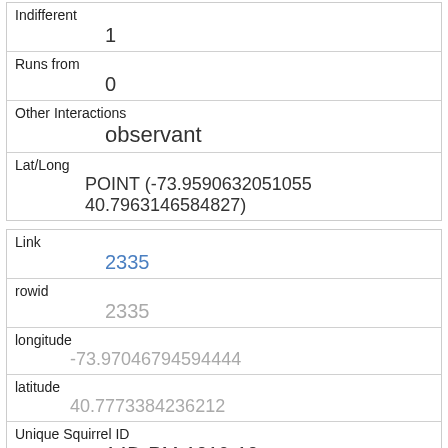| Indifferent | 1 |
| Runs from | 0 |
| Other Interactions | observant |
| Lat/Long | POINT (-73.9590632051055 40.7963146584827) |
| Link | 2335 |
| rowid | 2335 |
| longitude | -73.97046794594443 |
| latitude | 40.7773384236212 |
| Unique Squirrel ID | 14D-PM-1019-10 |
| Hectare | 14D |